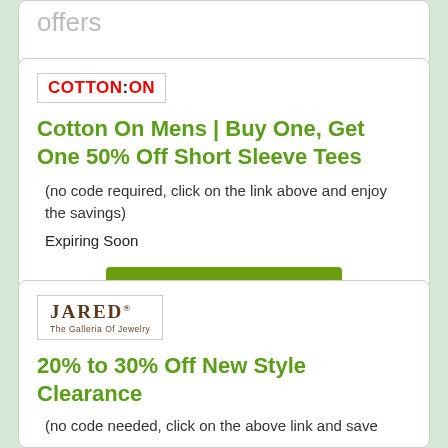offers
[Figure (logo): Cotton:On logo in red and black text with border]
Cotton On Mens | Buy One, Get One 50% Off Short Sleeve Tees
(no code required, click on the link above and enjoy the savings)
Expiring Soon
USE THIS PROMO
view all offers
[Figure (logo): Jared The Galleria of Jewelry logo with border]
20% to 30% Off New Style Clearance
(no code needed, click on the above link and save